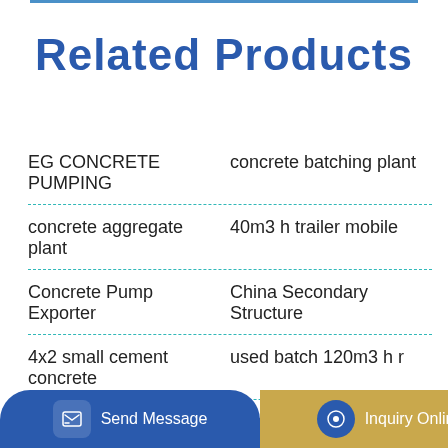Related Products
EG CONCRETE PUMPING | concrete batching plant
concrete aggregate plant | 40m3 h trailer mobile
Concrete Pump Exporter | China Secondary Structure
4x2 small cement concrete | used batch 120m3 h r
41m concrete pump truck | China 8X4 Euro5 8m3